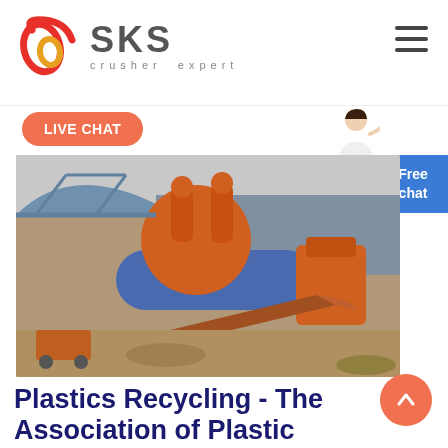[Figure (logo): SKS crusher expert logo with red stylized icon and grey SKS text]
LIVE CHAT
[Figure (photo): Industrial crushing/recycling plant with large orange rotary drum and blue cylinder conveyor belt under a metal roof structure]
Plastics Recycling - The Association of Plastic Recyclers